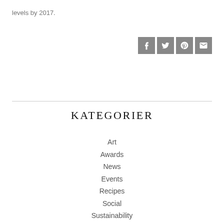levels by 2017.
[Figure (infographic): Social sharing icons: Facebook, Twitter, Pinterest, Email]
KATEGORIER
Art
Awards
News
Events
Recipes
Social
Sustainability
Weddings